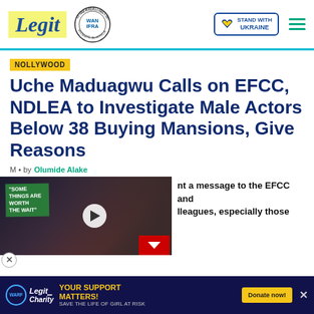Legit — Best News Website in Africa 2021 WAN-IFRA — STAND WITH UKRAINE
NOLLYWOOD
Uche Maduagwu Calls on EFCC, NDLEA to Investigate Male Actors Below 38 Buying Mansions, Give Reasons
by Olumide Alake
[Figure (screenshot): Video thumbnail showing a man and woman at a formal event, with green label reading 'SOME THINGS ARE WORTH THE WAIT' and a play button overlay, plus a red chevron/close button]
nt a message to the EFCC and lleagues, especially those
[Figure (infographic): Charity banner: WARF Legit Charity — YOUR SUPPORT MATTERS! SAVE THE LIFE OF GIRL AT RISK — Donate now! button]